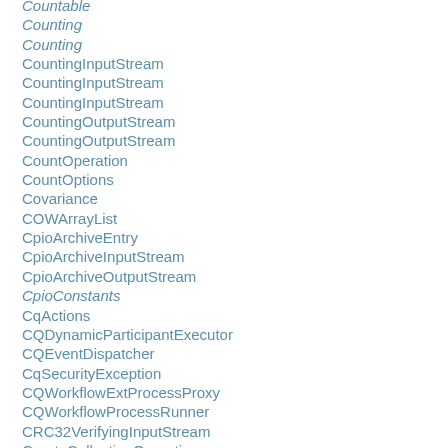Countable
Counting
Counting
CountingInputStream
CountingInputStream
CountingInputStream
CountingOutputStream
CountingOutputStream
CountOperation
CountOptions
Covariance
COWArrayList
CpioArchiveEntry
CpioArchiveInputStream
CpioArchiveOutputStream
CpioConstants
CqActions
CQDynamicParticipantExecutor
CQEventDispatcher
CqSecurityException
CQWorkflowExtProcessProxy
CQWorkflowProcessRunner
CRC32VerifyingInputStream
CreateCollectionOperation
CreateCollectionOptions
CreateIndexesOperation
CreateIndexOptions
CreatePath
CreatePdfPreviewProcess